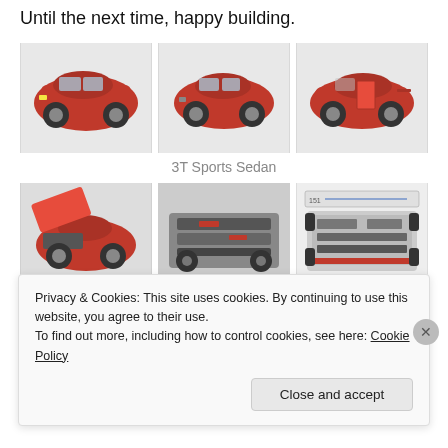Until the next time, happy building.
[Figure (photo): Three photos of a red LEGO Technic sports sedan (3T Sports Sedan) from different angles - front-left, front, and right side views]
3T Sports Sedan
[Figure (photo): Three photos showing the LEGO Technic sports sedan with hood open, internal mechanics/chassis, and a reference diagram]
Privacy & Cookies: This site uses cookies. By continuing to use this website, you agree to their use.
To find out more, including how to control cookies, see here: Cookie Policy
Close and accept